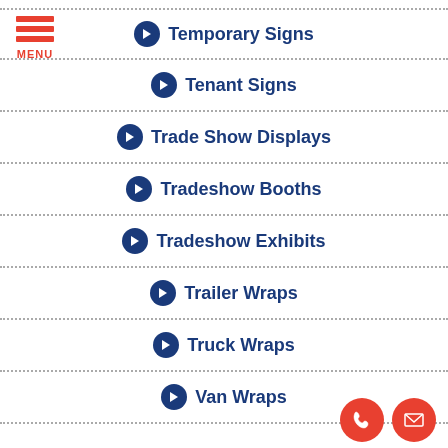[Figure (logo): Hamburger menu icon with three red horizontal bars and red MENU text below]
Temporary Signs
Tenant Signs
Trade Show Displays
Tradeshow Booths
Tradeshow Exhibits
Trailer Wraps
Truck Wraps
Van Wraps
[Figure (illustration): Two orange circular icons: a phone handset icon and an envelope/mail icon]